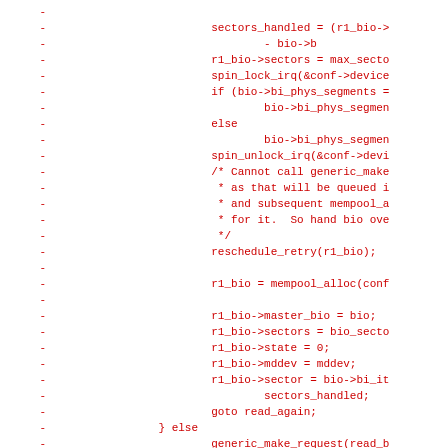Code diff showing removed lines with - prefix, containing C kernel code for bio/sectors handling, mempool allocation, and read retry logic